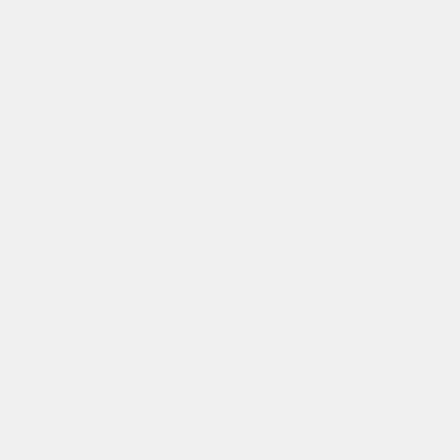or 'the acco so ple (Ec for cla
Last edited by Imperium Anglorum on Tue Feb 23, 2021 7:49 pm, edited 1 time in total.
WA Dis .